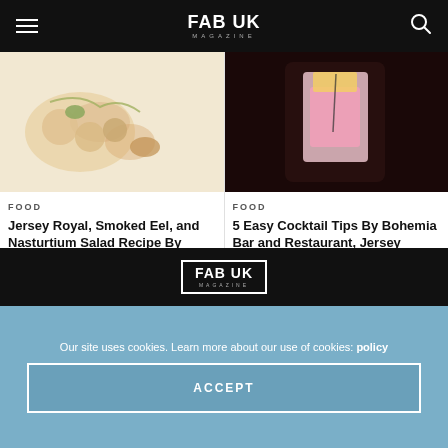FAB UK MAGAZINE
[Figure (photo): Food dish with Jersey Royal potatoes, smoked eel, and nasturtium salad on a white plate]
FOOD
Jersey Royal, Smoked Eel, and Nasturtium Salad Recipe By Bohemia Head Chef Steve Smith
[Figure (photo): Pink cocktail in a glass with dark background, Bohemia Bar and Restaurant]
FOOD
5 Easy Cocktail Tips By Bohemia Bar and Restaurant, Jersey
[Figure (logo): FAB UK Magazine logo in a box, white on dark background]
Our site uses cookies. Learn more about our use of cookies: policy
ACCEPT